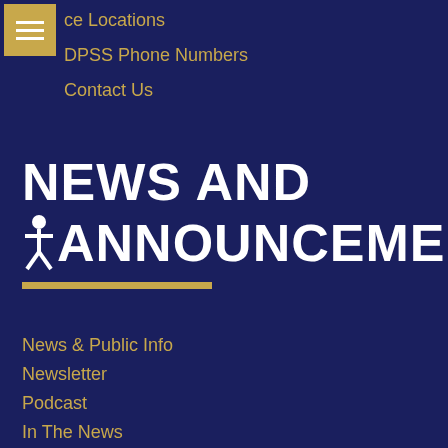ce Locations
DPSS Phone Numbers
Contact Us
NEWS AND ANNOUNCEMENTS
News & Public Info
Newsletter
Podcast
In The News
Blogspot
Press Releases